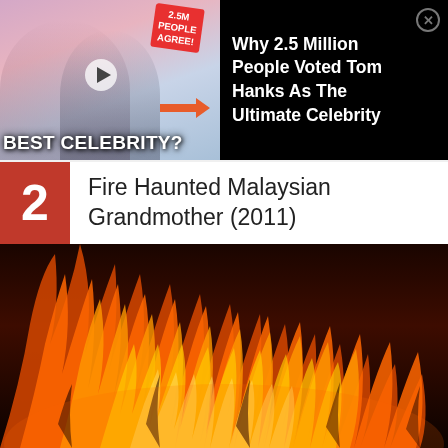[Figure (screenshot): Advertisement banner showing a celebrity quiz image on the left with 'BEST CELEBRITY?' text and two people, and on the right a black background with text 'Why 2.5 Million People Voted Tom Hanks As The Ultimate Celebrity' with a close button.]
Why 2.5 Million People Voted Tom Hanks As The Ultimate Celebrity
2  Fire Haunted Malaysian Grandmother (2011)
[Figure (photo): Close-up photograph of bright orange and yellow flames against a dark background, filling the lower portion of the page.]